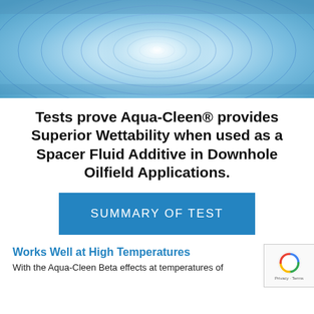[Figure (photo): Close-up photo of water droplets creating ripples on a blue water surface]
Tests prove Aqua-Cleen® provides Superior Wettability when used as a Spacer Fluid Additive in Downhole Oilfield Applications.
SUMMARY OF TEST
Works Well at High Temperatures
With the Aqua-Cleen Beta effects at temperatures of...